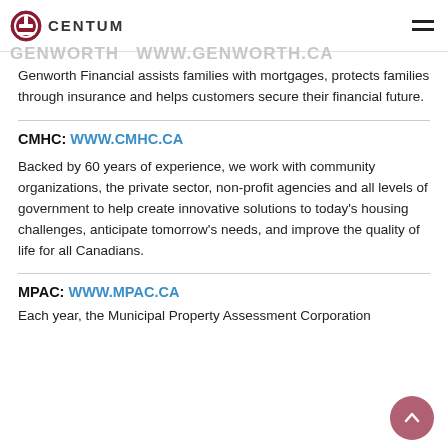CENTUM
GENWORTH WWW.GENWORTH.CA
Genworth Financial assists families with mortgages, protects families through insurance and helps customers secure their financial future.
CMHC: WWW.CMHC.CA
Backed by 60 years of experience, we work with community organizations, the private sector, non-profit agencies and all levels of government to help create innovative solutions to today's housing challenges, anticipate tomorrow's needs, and improve the quality of life for all Canadians.
MPAC: WWW.MPAC.CA
Each year, the Municipal Property Assessment Corporation